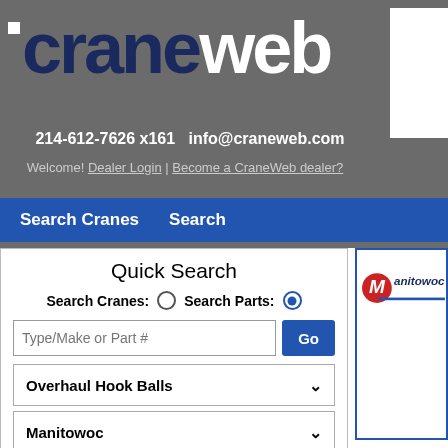craneweb 214-612-7626 x161 info@craneweb.com Welcome! Dealer Login | Become a CraneWeb dealer?
Search Cranes  Search
Quick Search
Search Cranes: ○  Search Parts: ●
Type/Make or Part #  Go
Overhaul Hook Balls ∨
Manitowoc ∨
United States ∨
Ohio ∨
Reset  Update Results
[Figure (logo): Manitowoc company logo — red circle with white M, text 'Manitowoc' in blue and dark blue]